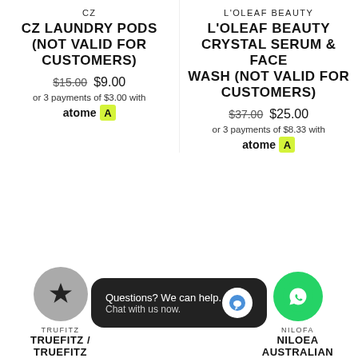CZ
CZ LAUNDRY PODS (NOT VALID FOR CUSTOMERS)
$15.00  $9.00
or 3 payments of $3.00 with atome
L'OLEAF BEAUTY
L'OLEAF BEAUTY CRYSTAL SERUM & FACE WASH (NOT VALID FOR CUSTOMERS)
$37.00  $25.00
or 3 payments of $8.33 with atome
TRUFITZ
TRUEFITZ / TRUEFITZ
NILOFA
NILOEA AUSTRALIAN
Questions? We can help. Chat with us now.